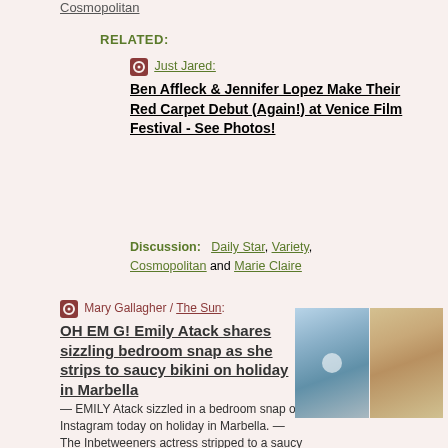Cosmopolitan
RELATED:
Just Jared: Ben Affleck & Jennifer Lopez Make Their Red Carpet Debut (Again!) at Venice Film Festival - See Photos!
Discussion: Daily Star, Variety, Cosmopolitan and Marie Claire
Mary Gallagher / The Sun: OH EM G! Emily Atack shares sizzling bedroom snap as she strips to saucy bikini on holiday in Marbella — EMILY Atack sizzled in a bedroom snap on Instagram today on holiday in Marbella. — The Inbetweeners actress stripped to a saucy bikini and showed off her
[Figure (photo): Two photos of Emily Atack - left shows her taking a mirror selfie in a bedroom, right shows her posing in a black outfit with blonde hair]